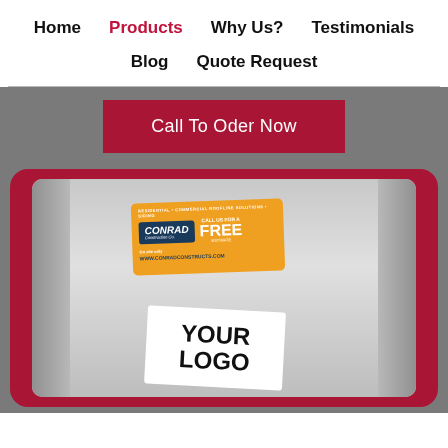Home  Products  Why Us?  Testimonials  Blog  Quote Request
Call To Oder Now
[Figure (photo): A refrigerator surface with two business card magnets attached: one orange Conrad Construction Co magnet offering a FREE estimate, and one white magnet placeholder showing YOUR LOGO text. The magnets are displayed inside a dark red rounded rectangular frame against a gray background.]